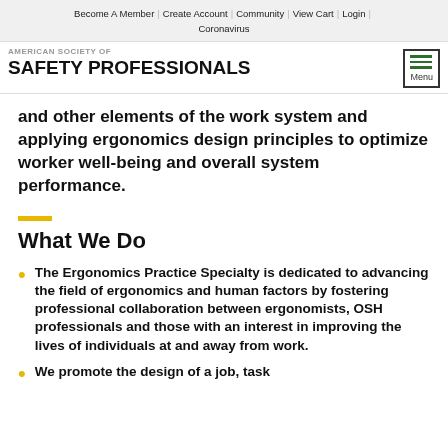Become A Member | Create Account | Community | View Cart | Login | Coronavirus
AMERICAN SOCIETY OF SAFETY PROFESSIONALS
and other elements of the work system and applying ergonomics design principles to optimize worker well-being and overall system performance.
What We Do
The Ergonomics Practice Specialty is dedicated to advancing the field of ergonomics and human factors by fostering professional collaboration between ergonomists, OSH professionals and those with an interest in improving the lives of individuals at and away from work.
We promote the design of a job, task...